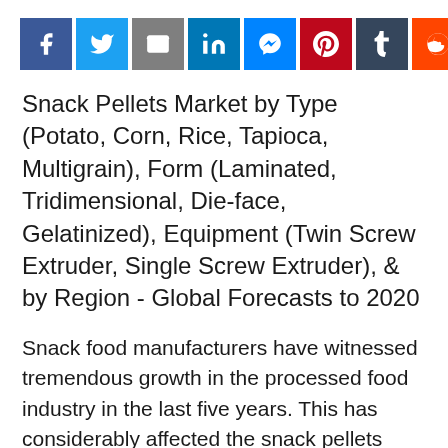[Figure (other): Social media sharing buttons bar: Facebook (blue), Twitter (light blue), Email (gray), LinkedIn (dark blue), Messenger (blue), Pinterest (red), Tumblr (dark navy), Reddit (orange), ShareThis (green)]
Snack Pellets Market by Type (Potato, Corn, Rice, Tapioca, Multigrain), Form (Laminated, Tridimensional, Die-face, Gelatinized), Equipment (Twin Screw Extruder, Single Screw Extruder), & by Region - Global Forecasts to 2020
Snack food manufacturers have witnessed tremendous growth in the processed food industry in the last five years. This has considerably affected the snack pellets industry and an upsurge was recorded in this industry. New technologies have initiated the emergence of innovative products derived from cereals and lentils. Developing